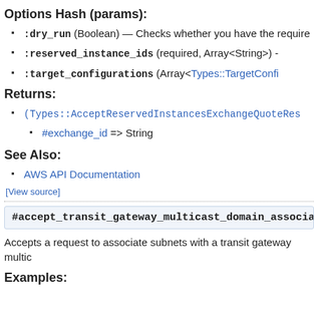Options Hash (params):
:dry_run (Boolean) — Checks whether you have the require
:reserved_instance_ids (required, Array<String>) -
:target_configurations (Array<Types::TargetConfi
Returns:
(Types::AcceptReservedInstancesExchangeQuoteRes
#exchange_id => String
See Also:
AWS API Documentation
[View source]
#accept_transit_gateway_multicast_domain_associatio
Accepts a request to associate subnets with a transit gateway multic
Examples: